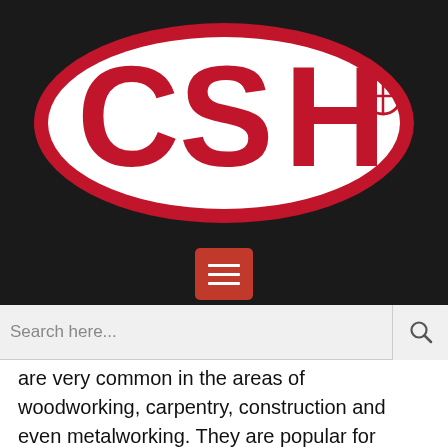[Figure (logo): CSH logo: white oval with red border on black background, large red letters CSH with a registered trademark circle symbol]
[Figure (other): Red square menu/hamburger button with three horizontal white lines]
Search here...
are very common in the areas of woodworking, carpentry, construction and even metalworking. They are popular for welding, milling and drilling.